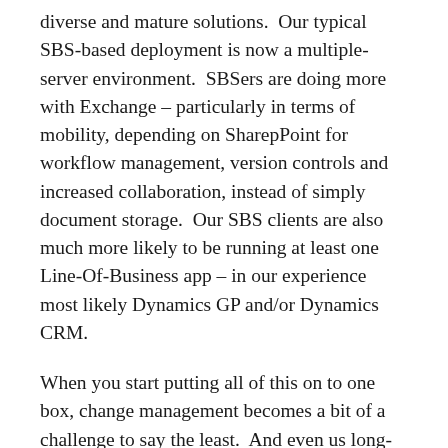diverse and mature solutions.  Our typical SBS-based deployment is now a multiple-server environment.  SBSers are doing more with Exchange – particularly in terms of mobility, depending on SharepPoint for workflow management, version controls and increased collaboration, instead of simply document storage.  Our SBS clients are also much more likely to be running at least one Line-Of-Business app – in our experience most likely Dynamics GP and/or Dynamics CRM.
When you start putting all of this on to one box, change management becomes a bit of a challenge to say the least.  And even us long-time ISA fans have to admit that ISA is usually the first thing to come up when we start thinking about moving services off our SBS.  But investing in another box, plus another Windows Server license, plus ISA is often hard to swallow – especially when you look at it from a customer perspective and include services to install and configure that box.  From